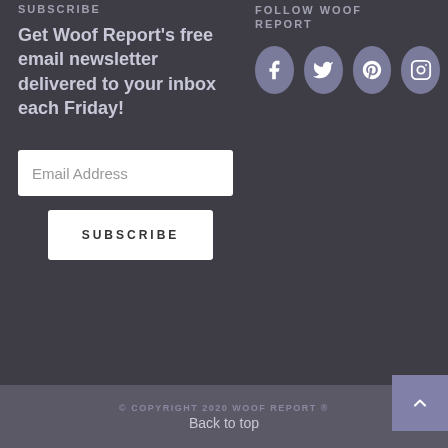SUBSCRIBE
Get Woof Report's free email newsletter delivered to your inbox each Friday!
FOLLOW WOOF REPORT
[Figure (infographic): Four circular social media icon buttons: Facebook, Twitter, Pinterest, Instagram]
Email Address
SUBSCRIBE
© COPYRIGHT 2020 WOOF REPORT ®   Back to top